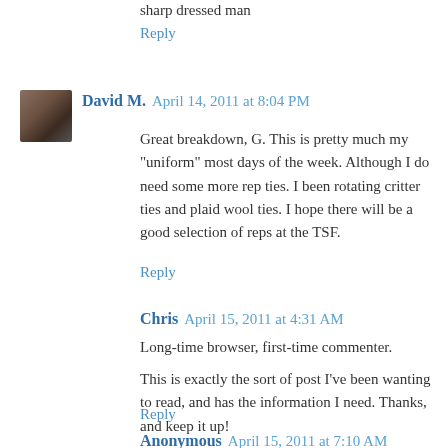sharp dressed man
Reply
David M.  April 14, 2011 at 8:04 PM
Great breakdown, G. This is pretty much my "uniform" most days of the week. Although I do need some more rep ties. I been rotating critter ties and plaid wool ties. I hope there will be a good selection of reps at the TSF.
Reply
Chris  April 15, 2011 at 4:31 AM
Long-time browser, first-time commenter.
This is exactly the sort of post I've been wanting to read, and has the information I need. Thanks, and keep it up!
Reply
Anonymous  April 15, 2011 at 7:10 AM